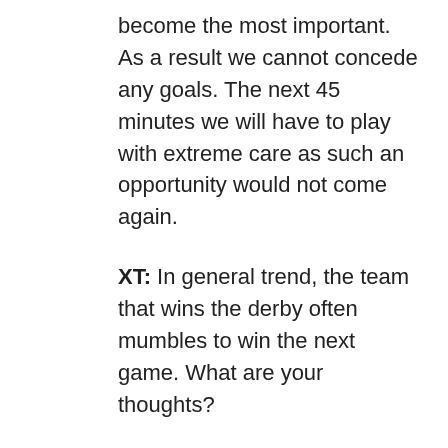become the most important. As a result we cannot concede any goals. The next 45 minutes we will have to play with extreme care as such an opportunity would not come again.
XT: In general trend, the team that wins the derby often mumbles to win the next game. What are your thoughts?
Kingsley: Derby is past now. We are not thinking about that. We will be taking match by match into consideration. The aim is to win the I-League. If we